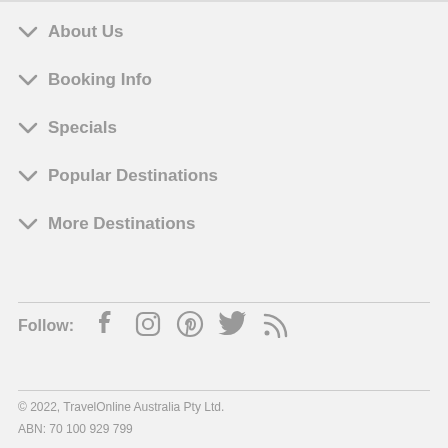About Us
Booking Info
Specials
Popular Destinations
More Destinations
Follow: [Facebook] [Instagram] [Pinterest] [Twitter] [RSS]
© 2022, TravelOnline Australia Pty Ltd.
ABN: 70 100 929 799